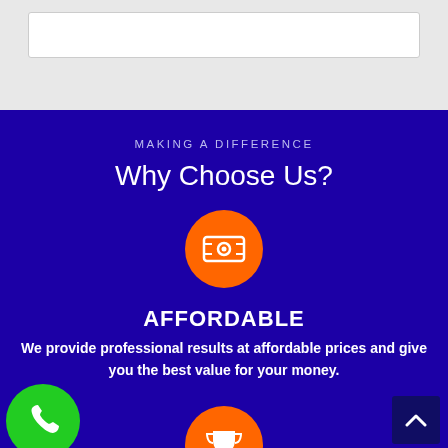[Figure (screenshot): Top grey bar with white search/input box]
MAKING A DIFFERENCE
Why Choose Us?
[Figure (illustration): Orange circle with white money/cash icon]
AFFORDABLE
We provide professional results at affordable prices and give you the best value for your money.
[Figure (illustration): Orange circle with white trophy icon]
PROFESSIONAL
[Figure (illustration): Green circle with white phone icon (bottom left)]
[Figure (illustration): Dark blue scroll-to-top button with upward chevron (bottom right)]